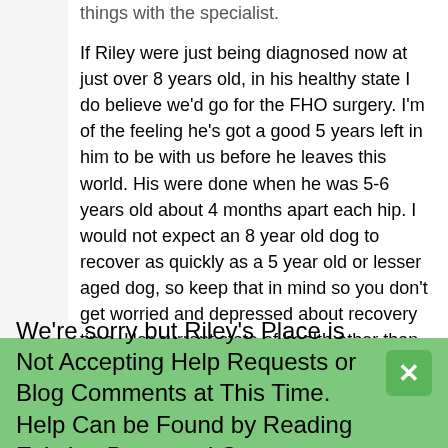things with the specialist.
If Riley were just being diagnosed now at just over 8 years old, in his healthy state I do believe we'd go for the FHO surgery. I'm of the feeling he's got a good 5 years left in him to be with us before he leaves this world. His were done when he was 5-6 years old about 4 months apart each hip. I would not expect an 8 year old dog to recover as quickly as a 5 year old or lesser aged dog, so keep that in mind so you don't get worried and depressed about recovery time. Her current state of health other than her hips is a significant factor in how to go forward from here and that's a talk you need to have with your vet. I suggest you also read Matt's posts on this page about his dog Athena who really came through FHO surgery like a champ! Her recovery was amazing!
I hope you'll keep us informed how she's doing
We're sorry but Riley's Place is Not Accepting Help Requests or Blog Comments at This Time. Help Can be Found by Reading Existing Posts and Comments.